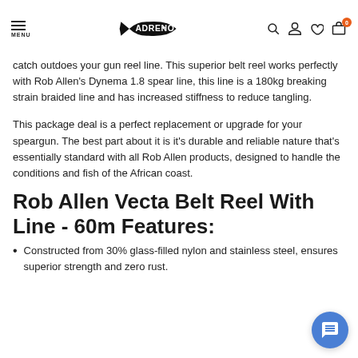MENU | ADRENO logo | search, account, wishlist, cart icons
catch outdoes your gun reel line. This superior belt reel works perfectly with Rob Allen's Dynema 1.8 spear line, this line is a 180kg breaking strain braided line and has increased stiffness to reduce tangling.
This package deal is a perfect replacement or upgrade for your speargun. The best part about it is it's durable and reliable nature that's essentially standard with all Rob Allen products, designed to handle the conditions and fish of the African coast.
Rob Allen Vecta Belt Reel With Line - 60m Features:
Constructed from 30% glass-filled nylon and stainless steel, ensures superior strength and zero rust.